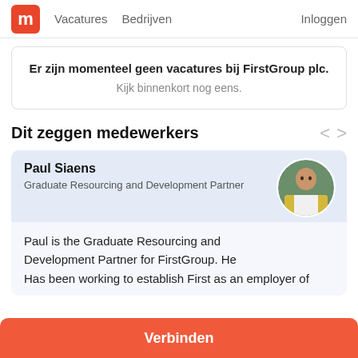m  Vacatures  Bedrijven  Inloggen
Er zijn momenteel geen vacatures bij FirstGroup plc.
Kijk binnenkort nog eens.
Dit zeggen medewerkers
Paul Siaens
Graduate Resourcing and Development Partner
Paul is the Graduate Resourcing and Development Partner for FirstGroup. He Has been working to establish First as an employer of
Verbinden